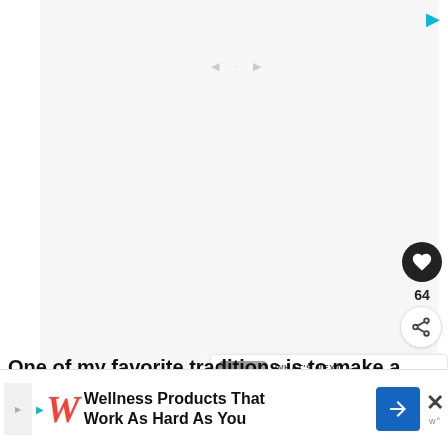[Figure (screenshot): Blank white video or content area with play controls faintly visible at top center, occupying most of the upper portion of the page.]
[Figure (other): Heart (like) button — black circular button with white heart icon — and like count of 64, and a share button below.]
WHAT'S NEXT → How To Decorate Yo...
One of my favorite traditions is to make a
[Figure (other): Advertisement banner: Walgreens 'W' logo with text 'Wellness Products That Work As Hard As You', navigation arrow button, and close X button.]